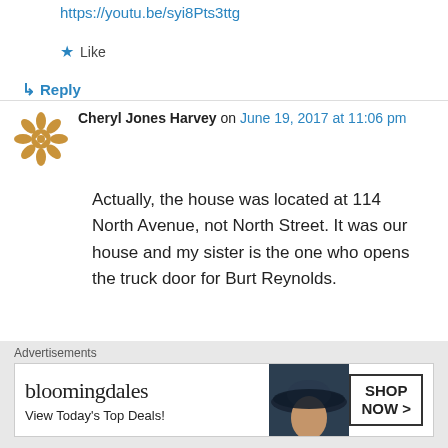https://youtu.be/syi8Pts3ttg
★ Like
↳ Reply
Cheryl Jones Harvey on June 19, 2017 at 11:06 pm
Actually, the house was located at 114 North Avenue, not North Street. It was our house and my sister is the one who opens the truck door for Burt Reynolds.
★ Like
↳ Reply
[Figure (screenshot): Bloomingdale's advertisement banner: 'bloomingdales — View Today's Top Deals!' with a woman in a wide-brim hat and 'SHOP NOW >' button]